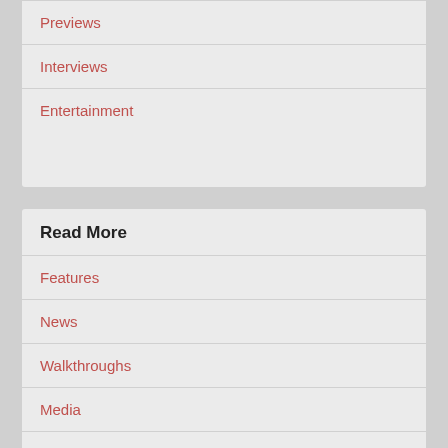Previews
Interviews
Entertainment
Read More
Features
News
Walkthroughs
Media
Privacy Policy
Terms of Service
GamerHub Network
Madeia